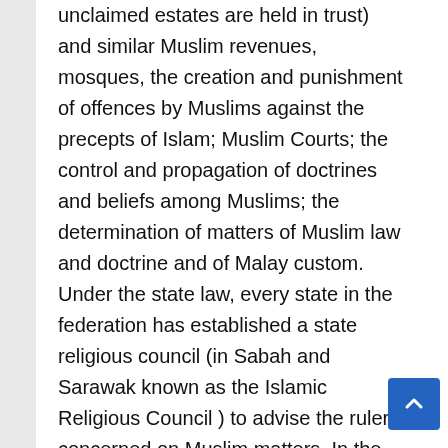unclaimed estates are held in trust) and similar Muslim revenues, mosques, the creation and punishment of offences by Muslims against the precepts of Islam; Muslim Courts; the control and propagation of doctrines and beliefs among Muslims; the determination of matters of Muslim law and doctrine and of Malay custom. Under the state law, every state in the federation has established a state religious council (in Sabah and Sarawak known as the Islamic Religious Council ) to advise the ruler concerned on Muslim matters. In the cases of Pulau Pinang and Melaka, to advise the Yang di-Pertuan Agong and in those of Sabah and Sarawak to advise the state government concerned. Islam was made the state religion of Sabah by an amendment to the state constitution passed by the states legislature in